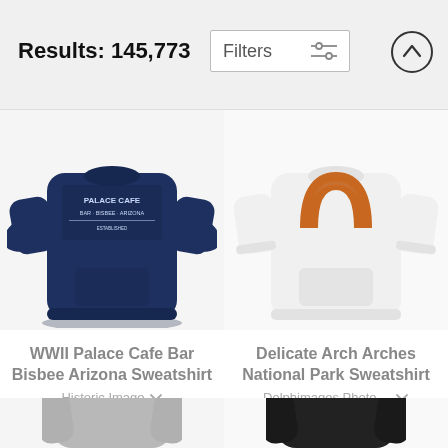Results: 145,773
Filters
[Figure (photo): Navy blue WWII Palace Cafe Bar Bisbee Arizona sweatshirt on white background]
[Figure (photo): White Delicate Arch Arches National Park sweatshirt with orange arch graphic on white background]
WWII Palace Cafe Bar Bisbee Arizona Sweatshirt
Historic Image
$45
Delicate Arch Arches National Park Sweatshirt
Delphimages Photo ...
$47
[Figure (photo): Grey hoodie sweatshirt, partial view, bottom of page]
[Figure (photo): Black hoodie sweatshirt, partial view, bottom of page]